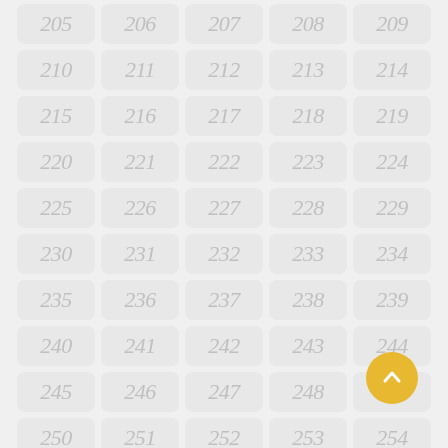[Figure (other): A grid of numbered cells (205-259+) displayed as rounded rectangle tiles on a light gray background, with a gold circular back-to-top button in the bottom right corner.]